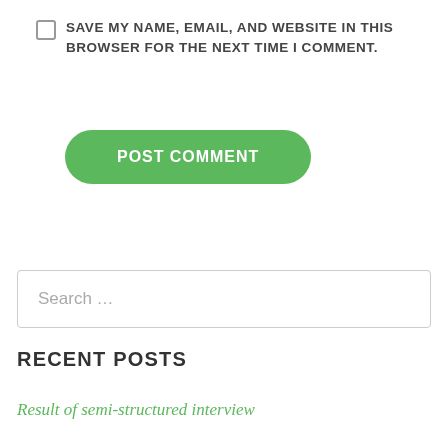SAVE MY NAME, EMAIL, AND WEBSITE IN THIS BROWSER FOR THE NEXT TIME I COMMENT.
POST COMMENT
Search …
RECENT POSTS
Result of semi-structured interview